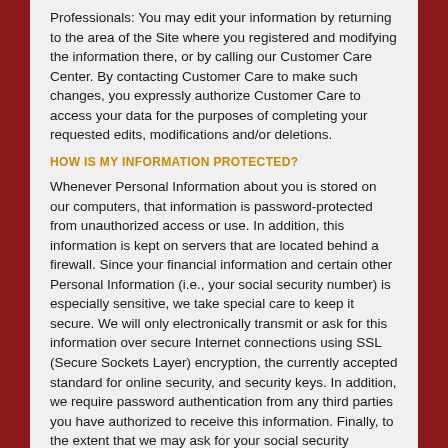Professionals: You may edit your information by returning to the area of the Site where you registered and modifying the information there, or by calling our Customer Care Center. By contacting Customer Care to make such changes, you expressly authorize Customer Care to access your data for the purposes of completing your requested edits, modifications and/or deletions.
HOW IS MY INFORMATION PROTECTED?
Whenever Personal Information about you is stored on our computers, that information is password-protected from unauthorized access or use. In addition, this information is kept on servers that are located behind a firewall. Since your financial information and certain other Personal Information (i.e., your social security number) is especially sensitive, we take special care to keep it secure. We will only electronically transmit or ask for this information over secure Internet connections using SSL (Secure Sockets Layer) encryption, the currently accepted standard for online security, and security keys. In addition, we require password authentication from any third parties you have authorized to receive this information. Finally, to the extent that we may ask for your social security number, credit card number or financial